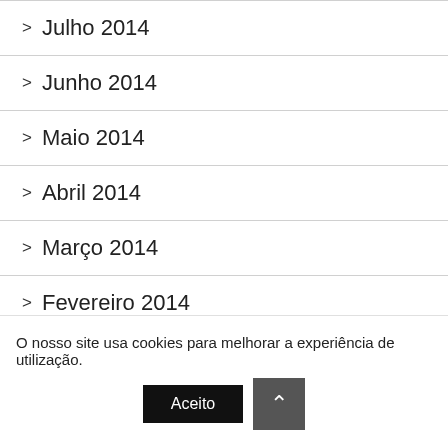> Julho 2014
> Junho 2014
> Maio 2014
> Abril 2014
> Março 2014
> Fevereiro 2014
> Janeiro 2014
O nosso site usa cookies para melhorar a experiência de utilização. Aceito